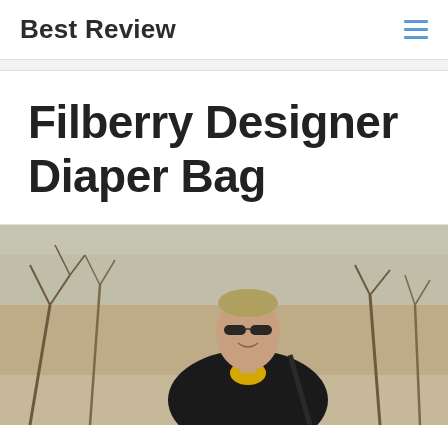Best Review
Filberry Designer Diaper Bag
[Figure (photo): A smiling man wearing sunglasses and a black jacket over a yellow shirt, photographed outdoors with bare winter trees in the background. He appears to be carrying a bag strap visible over his shoulder.]